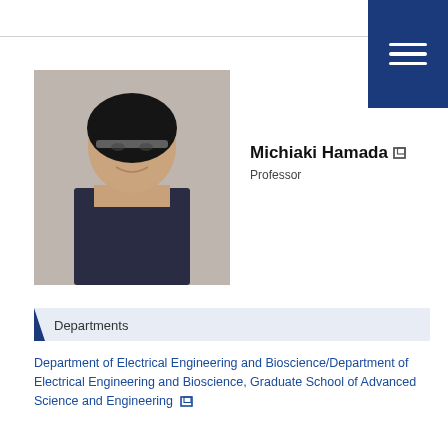[Figure (photo): Profile photo of Michiaki Hamada, a man wearing glasses and a suit, smiling]
Michiaki Hamada
Professor
Departments
Department of Electrical Engineering and Bioscience/Department of Electrical Engineering and Bioscience, Graduate School of Advanced Science and Engineering
Field
Bioinformatics / Computational Biology / Data Mining / Machine Learning
[Figure (photo): Partial profile photo of another person, only top of head visible]